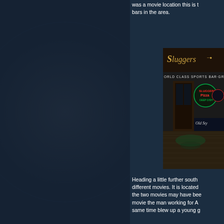was a movie location this is the bars in the area.
[Figure (photo): Sluggers World Class Sports Bar & Grill storefront at night, showing neon signs and glass doors reflecting green neon lights]
Heading a little further south different movies. It is located the two movies may have bee movie the man working for A same time blew up a young g
[Figure (photo): Brick building exterior with storefronts on street level]